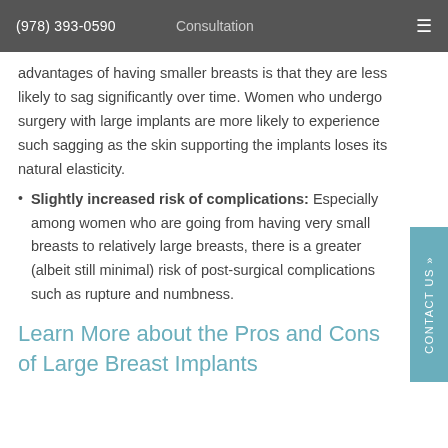(978) 393-0590   Consultation
advantages of having smaller breasts is that they are less likely to sag significantly over time. Women who undergo surgery with large implants are more likely to experience such sagging as the skin supporting the implants loses its natural elasticity.
Slightly increased risk of complications: Especially among women who are going from having very small breasts to relatively large breasts, there is a greater (albeit still minimal) risk of post-surgical complications such as rupture and numbness.
Learn More about the Pros and Cons of Large Breast Implants